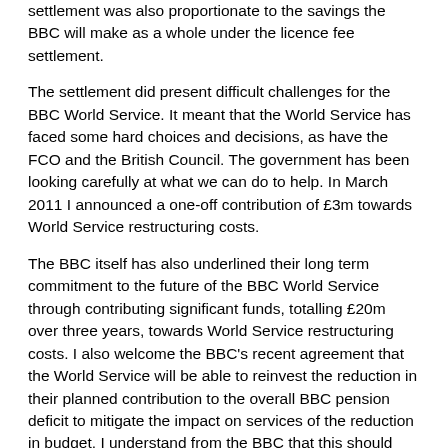settlement was also proportionate to the savings the BBC will make as a whole under the licence fee settlement.
The settlement did present difficult challenges for the BBC World Service. It meant that the World Service has faced some hard choices and decisions, as have the FCO and the British Council. The government has been looking carefully at what we can do to help. In March 2011 I announced a one-off contribution of £3m towards World Service restructuring costs.
The BBC itself has also underlined their long term commitment to the future of the BBC World Service through contributing significant funds, totalling £20m over three years, towards World Service restructuring costs. I also welcome the BBC's recent agreement that the World Service will be able to reinvest the reduction in their planned contribution to the overall BBC pension deficit to mitigate the impact on services of the reduction in budget. I understand from the BBC that this should release an extra £9m over three years for investment in services. One area they have identified as a priority for such funding is the continuation of the Hindi shortwave service. I was pleased that the BBC World Service had itself identified savings